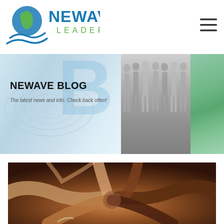[Figure (logo): Newave Leaders logo with globe icon and wave graphic]
[Figure (illustration): Hamburger menu icon (three horizontal lines)]
[Figure (photo): Newave Blog banner with ripple water background on left, large semi-transparent B letter watermark in center, grayscale group photo of women on right, green wave/water photo far right]
NEWAVE BLOG
The latest news and info. Check back often!
[Figure (photo): Close-up photo of multiple hands of diverse people joining together in center, symbolizing teamwork and unity]